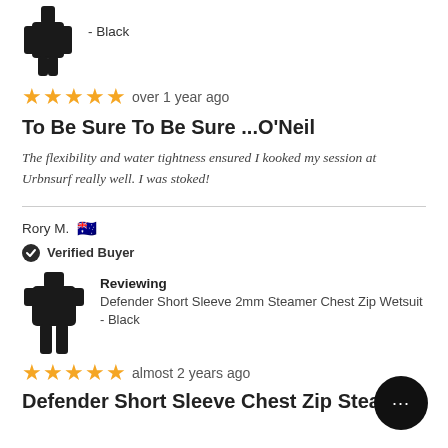[Figure (illustration): Wetsuit product image (black wetsuit, top portion visible)]
- Black
[Figure (other): 5 gold stars rating]
over 1 year ago
To Be Sure To Be Sure ...O'Neil
The flexibility and water tightness ensured I kooked my session at Urbnsurf really well. I was stoked!
Rory M. 🇦🇺
Verified Buyer
Reviewing
Defender Short Sleeve 2mm Steamer Chest Zip Wetsuit - Black
[Figure (illustration): Short sleeve wetsuit product image]
[Figure (other): 5 gold stars rating]
almost 2 years ago
Defender Short Sleeve Chest Zip Steamer